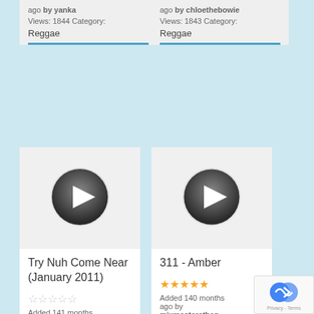ago by yanka
Views: 1844 Category:
Reggae
ago by chloethebowie
Views: 1843 Category:
Reggae
[Figure (illustration): Video play button circle for Try Nuh Come Near (January 2011)]
Try Nuh Come Near (January 2011)
☆☆☆☆☆ (empty stars rating)
Added 141 months ago by energy21
Views: 1843 Category:
[Figure (illustration): Video play button circle for 311 - Amber]
311 - Amber
★★★★★ (full stars rating)
Added 140 months ago by mixmasterethan
[Figure (logo): reCAPTCHA badge with Privacy - Terms text]